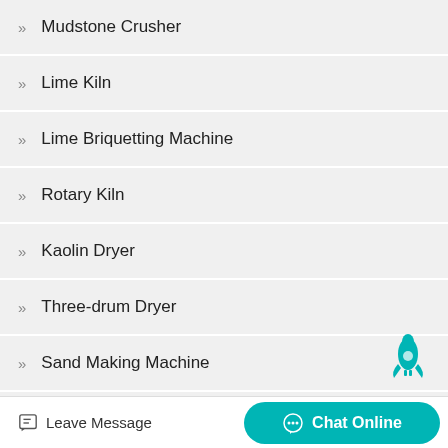Mudstone Crusher
Lime Kiln
Lime Briquetting Machine
Rotary Kiln
Kaolin Dryer
Three-drum Dryer
Sand Making Machine
Pendulum Feeder
Copper Ore Processing Equipment (partial)
Leave Message | Chat Online